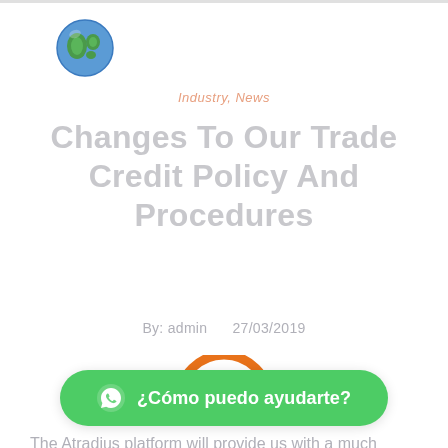[Figure (logo): Globe/earth icon in blue and white, positioned top left]
Industry, News
Changes To Our Trade Credit Policy And Procedures
By: admin    27/03/2019
[Figure (other): Orange loading spinner arc with horizontal orange line below]
The Atradius platform will provide us with a much deeper pool of research to assist with assessment of new credit applications and credit limits. In today's international and remote locations, experience and understanding of logistics operations and local networks is vital. With our many years of experience in the industry we have an understanding of the criticality of every aspect of the...
[Figure (other): Green WhatsApp button with text '¿Cómo puedo ayudarte?']